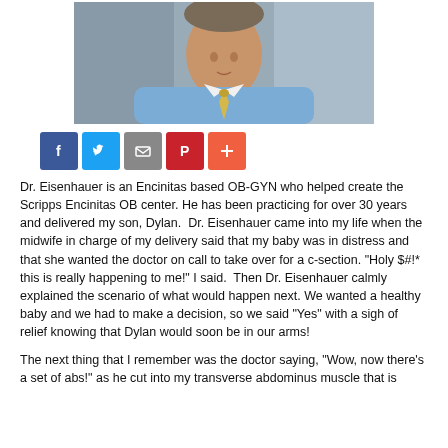[Figure (photo): Headshot of Dr. Eisenhauer, a middle-aged man wearing a light blue dress shirt and patterned tie, photographed against a gray background.]
[Figure (infographic): Row of social sharing buttons: Facebook (blue, f), Twitter (light blue, bird), Email (gray, envelope), Pinterest (red, P), and a plus/more button (orange-red, +).]
Dr. Eisenhauer is an Encinitas based OB-GYN who helped create the Scripps Encinitas OB center. He has been practicing for over 30 years and delivered my son, Dylan.  Dr. Eisenhauer came into my life when the midwife in charge of my delivery said that my baby was in distress and that she wanted the doctor on call to take over for a c-section. "Holy $#!* this is really happening to me!" I said.  Then Dr. Eisenhauer calmly explained the scenario of what would happen next. We wanted a healthy baby and we had to make a decision, so we said "Yes" with a sigh of relief knowing that Dylan would soon be in our arms!
The next thing that I remember was the doctor saying, "Wow, now there's a set of abs!" as he cut into my transverse abdominus muscle that is